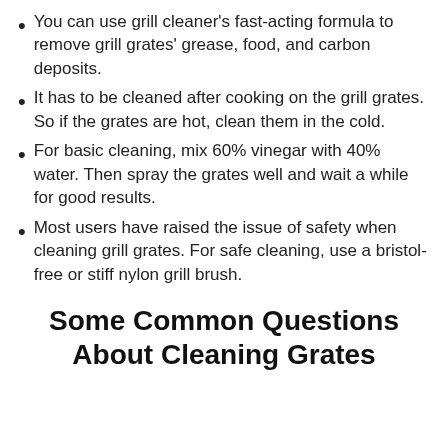You can use grill cleaner's fast-acting formula to remove grill grates' grease, food, and carbon deposits.
It has to be cleaned after cooking on the grill grates. So if the grates are hot, clean them in the cold.
For basic cleaning, mix 60% vinegar with 40% water. Then spray the grates well and wait a while for good results.
Most users have raised the issue of safety when cleaning grill grates. For safe cleaning, use a bristol-free or stiff nylon grill brush.
Some Common Questions About Cleaning Grates